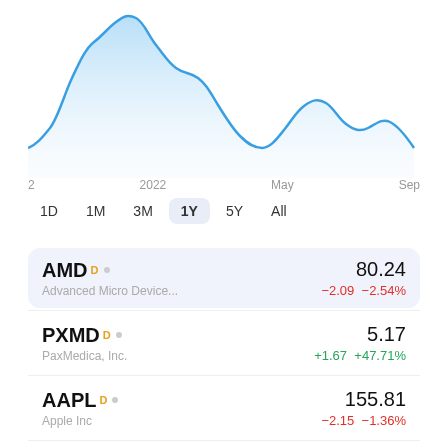[Figure (area-chart): AMD 1Y Stock Price]
2   2022   May   Sep
1D  1M  3M  1Y  5Y  All
| Ticker | Name | Price | Change | Change% |
| --- | --- | --- | --- | --- |
| AMD D | Advanced Micro Device... | 80.24 | -2.09 | -2.54% |
| PXMD D | PaxMedica, Inc. | 5.17 | +1.67 | +47.71% |
| AAPL D | Apple Inc | 155.81 | -2.15 | -1.36% |
| NVDA D | NVIDIA Corporation | 136.47 | -2.90 | -2.08% |